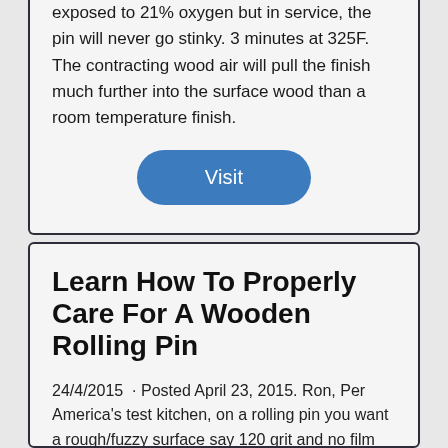exposed to 21% oxygen but in service, the pin will never go stinky. 3 minutes at 325F. The contracting wood air will pull the finish much further into the surface wood than a room temperature finish.
Visit
Learn How To Properly Care For A Wooden Rolling Pin
24/4/2015  · Posted April 23, 2015. Ron, Per America's test kitchen, on a rolling pin you want a rough/fuzzy surface say 120 grit and no film finish so that flour sticks to the pin